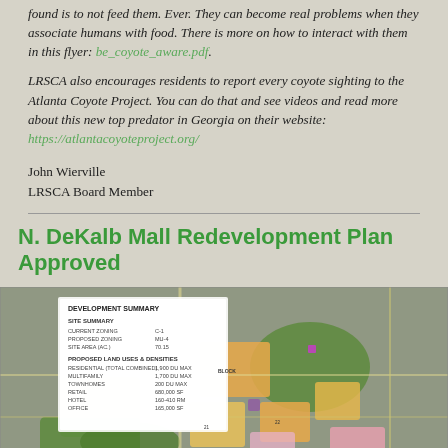found is to not feed them. Ever. They can become real problems when they associate humans with food. There is more on how to interact with them in this flyer: be_coyote_aware.pdf.
LRSCA also encourages residents to report every coyote sighting to the Atlanta Coyote Project. You can do that and see videos and read more about this new top predator in Georgia on their website: https://atlantacoyoteproject.org/
John Wierville
LRSCA Board Member
N. DeKalb Mall Redevelopment Plan Approved
[Figure (map): Aerial map showing the N. DeKalb Mall redevelopment plan with color-coded zones and a development summary table in the upper left corner showing site summary, proposed zoning, site area, and proposed land uses and densities including residential, multifamily, townhomes, retail, hotel, and office.]